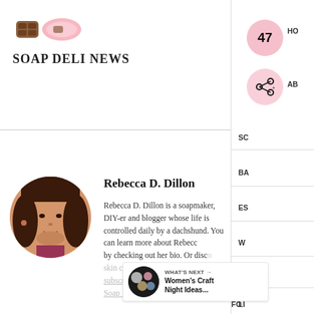[Figure (logo): Soap Deli News blog logo with soap bar icons and stylized text]
[Figure (other): Right sidebar with pink circle showing number 47, share icon circle, and navigation labels HO, AB, SC, BA, ES, W, HO, LI, FO]
Rebecca D. Dillon
Rebecca D. Dillon is a soapmaker, DIY-er and blogger whose life is controlled daily by a dachshund. You can learn more about Rebecca by checking out her bio. Or discover her skin care & beauty recipes by subscribing to Soap Deli News blog via email.
[Figure (photo): Circular profile photo of Rebecca D. Dillon, a woman with long dark hair]
WHAT'S NEXT → Women's Craft Night Ideas...